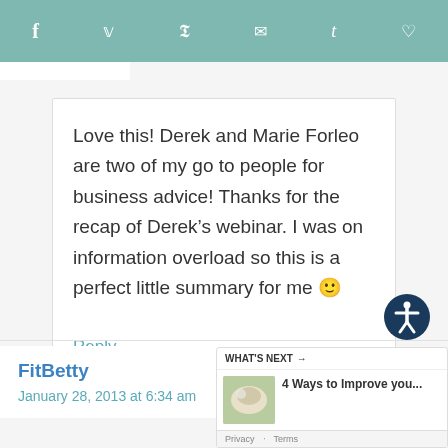f  twitter  p  mail  t  heart
Love this! Derek and Marie Forleo are two of my go to people for business advice! Thanks for the recap of Derek’s webinar. I was on information overload so this is a perfect little summary for me 🙂
Reply
FitBetty
January 28, 2013 at 6:34 am
[Figure (other): What's Next widget showing a food image with title '4 Ways to Improve you...']